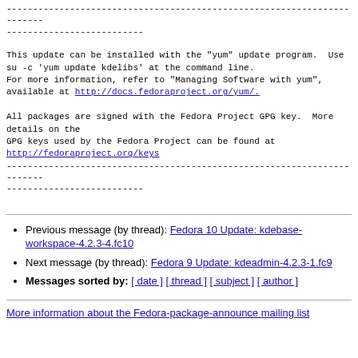------------------------------------------------------------------------
------------------------
This update can be installed with the "yum" update program.  Use
su -c 'yum update kdelibs' at the command line.
For more information, refer to "Managing Software with yum",
available at http://docs.fedoraproject.org/yum/.

All packages are signed with the Fedora Project GPG key.  More details on the
GPG keys used by the Fedora Project can be found at
http://fedoraproject.org/keys
------------------------------------------------------------------------
------------------------
Previous message (by thread): Fedora 10 Update: kdebase-workspace-4.2.3-4.fc10
Next message (by thread): Fedora 9 Update: kdeadmin-4.2.3-1.fc9
Messages sorted by: [ date ] [ thread ] [ subject ] [ author ]
More information about the Fedora-package-announce mailing list